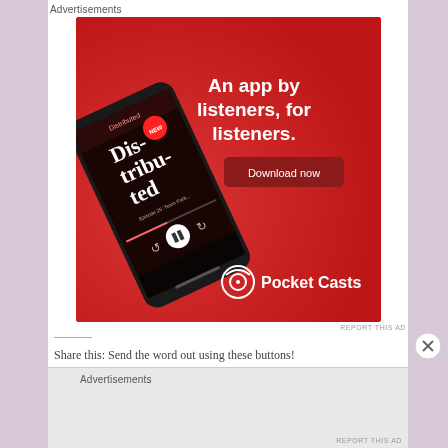Advertisements
[Figure (screenshot): Pocket Casts advertisement banner on red background showing a smartphone with podcast app open. Text reads 'An app by listeners, for listeners.' with 'Download now' button and Pocket Casts logo.]
REPORT THIS AD
Share this: Send the word out using these buttons!
Facebook  LinkedIn  Twitter  Tumblr
Advertisements
REPORT THIS AD